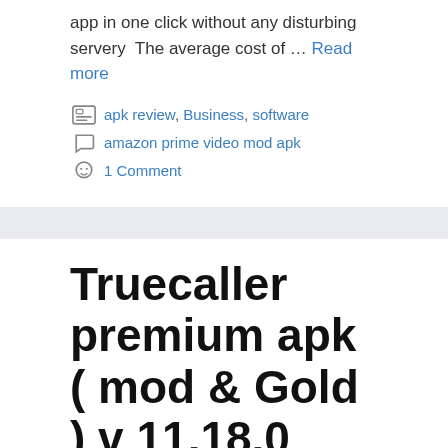app in one click without any disturbing servery  The average cost of … Read more
apk review, Business, software
amazon prime video mod apk
1 Comment
Truecaller premium apk ( mod & Gold ) v 11.18.0 unlocked 2020
July 27, 2020 by